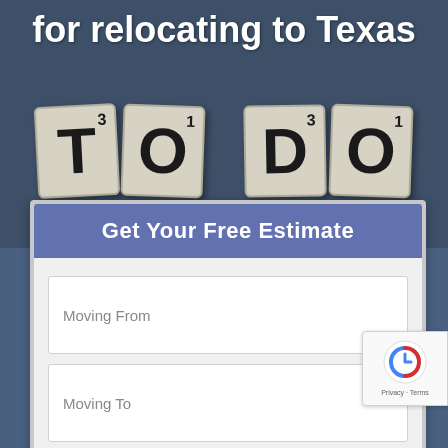for relocating to Texas
[Figure (photo): Scrabble tiles spelling 'TO DO' on dark textured background]
Get Your Free Estimate
Moving From
Moving To
Moving Date
How did you hear about us?
CONTINUE +